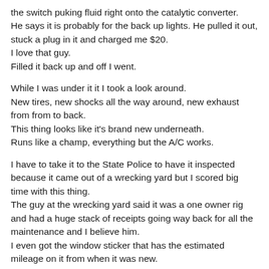the switch puking fluid right onto the catalytic converter. He says it is probably for the back up lights. He pulled it out, stuck a plug in it and charged me $20.
I love that guy.
Filled it back up and off I went.
While I was under it it I took a look around.
New tires, new shocks all the way around, new exhaust from from to back.
This thing looks like it's brand new underneath.
Runs like a champ, everything but the A/C works.
I have to take it to the State Police to have it inspected because it came out of a wrecking yard but I scored big time with this thing.
The guy at the wrecking yard said it was a one owner rig and had a huge stack of receipts going way back for all the maintenance and I believe him.
I even got the window sticker that has the estimated mileage on it from when it was new.
That picture up top?